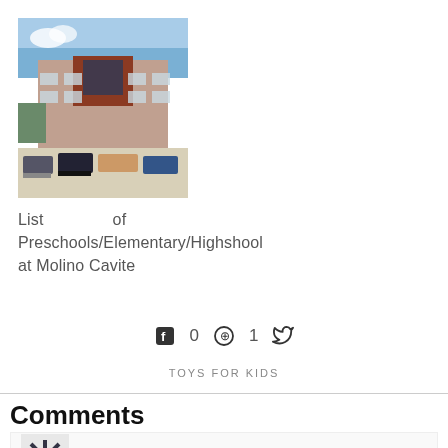[Figure (photo): Exterior photo of a multi-story school or commercial building with a parking lot in the foreground, blue sky above]
List of Preschools/Elementary/Highshool at Molino Cavite
0  1
TOYS FOR KIDS
Comments
melanie g says